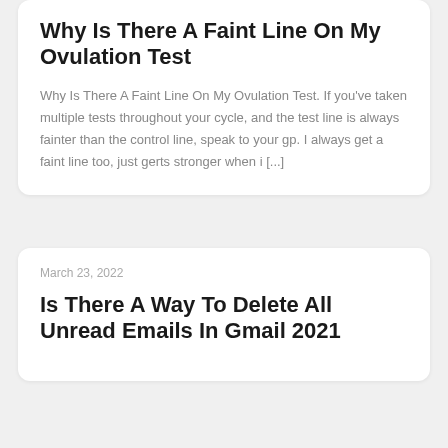Why Is There A Faint Line On My Ovulation Test
Why Is There A Faint Line On My Ovulation Test. If you've taken multiple tests throughout your cycle, and the test line is always fainter than the control line, speak to your gp. I always get a faint line too, just gerts stronger when i [...]
March 23, 2022
Is There A Way To Delete All Unread Emails In Gmail 2021